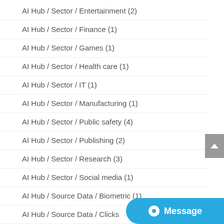AI Hub / Sector / Entertainment (2)
AI Hub / Sector / Finance (1)
AI Hub / Sector / Games (1)
AI Hub / Sector / Health care (1)
AI Hub / Sector / IT (1)
AI Hub / Sector / Manufacturing (1)
AI Hub / Sector / Public safety (4)
AI Hub / Sector / Publishing (2)
AI Hub / Sector / Research (3)
AI Hub / Sector / Social media (1)
AI Hub / Source Data / Biometric (1)
AI Hub / Source Data / Clicks
AI Hub / Source Data / Geolocation (2)